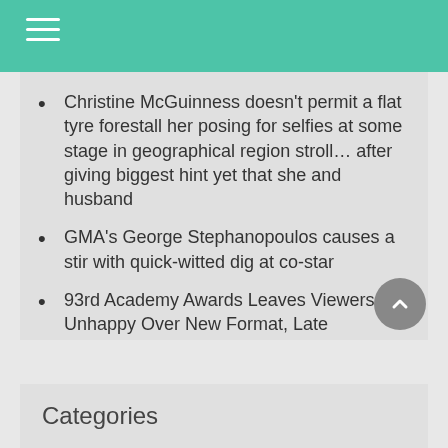Christine McGuinness doesn't permit a flat tyre forestall her posing for selfies at some stage in geographical region stroll… after giving biggest hint yet that she and husband
GMA's George Stephanopoulos causes a stir with quick-witted dig at co-star
93rd Academy Awards Leaves Viewers Unhappy Over New Format, Late Chadwick Boseman Snub
Movie Festivals
One Reality That Harm Courteney Cox's Emotions Throughout The Time She Starred On Mates Reverse
Categories